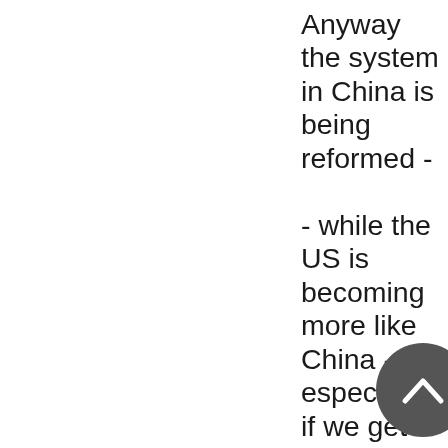Anyway the system in China is being reformed -

- while the US is becoming more like China - especially if we get mandated vaccine passes. You eventually may not only be prevented from gaining certain services but also prevented from